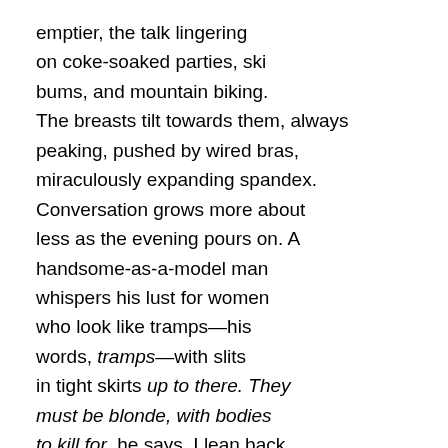emptier, the talk lingering on coke-soaked parties, ski bums, and mountain biking. The breasts tilt towards them, always peaking, pushed by wired bras, miraculously expanding spandex. Conversation grows more about less as the evening pours on. A handsome-as-a-model man whispers his lust for women who look like tramps—his words, tramps—with slits in tight skirts up to there. They must be blonde, with bodies to kill for, he says. I lean back against the excavated columns,